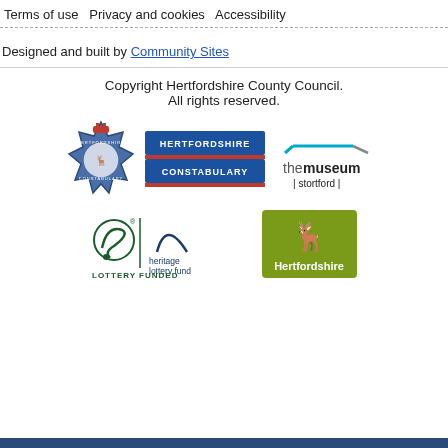Terms of use  Privacy and cookies  Accessibility
Designed and built by Community Sites
Copyright Hertfordshire County Council.
All rights reserved.
[Figure (logo): Hertfordshire Constabulary badge logo, Hertfordshire Constabulary text logo with blue and red rectangles, The Museum Stortford logo]
[Figure (logo): Heritage Lottery Fund - Lottery Funded logo and Hertfordshire County Council deer logo]